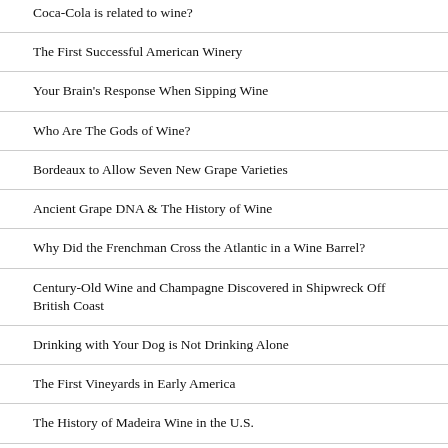Coca-Cola is related to wine?
The First Successful American Winery
Your Brain's Response When Sipping Wine
Who Are The Gods of Wine?
Bordeaux to Allow Seven New Grape Varieties
Ancient Grape DNA & The History of Wine
Why Did the Frenchman Cross the Atlantic in a Wine Barrel?
Century-Old Wine and Champagne Discovered in Shipwreck Off British Coast
Drinking with Your Dog is Not Drinking Alone
The First Vineyards in Early America
The History of Madeira Wine in the U.S.
America's First Designated Wine Region